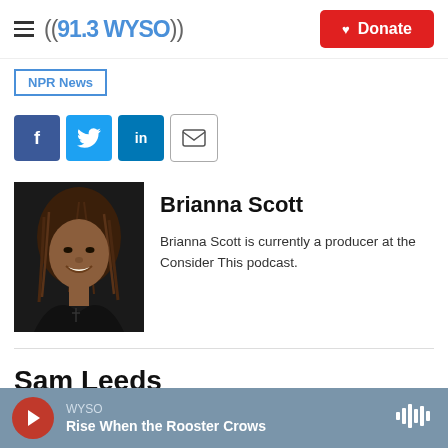((91.3WYSO)) Donate
NPR News
[Figure (infographic): Social sharing icons: Facebook (blue), Twitter (blue), LinkedIn (blue), Email (white with border)]
[Figure (photo): Headshot of Brianna Scott, smiling woman with braided hair on dark background]
Brianna Scott
Brianna Scott is currently a producer at the Consider This podcast.
Sam Leeds
WYSO — Rise When the Rooster Crows